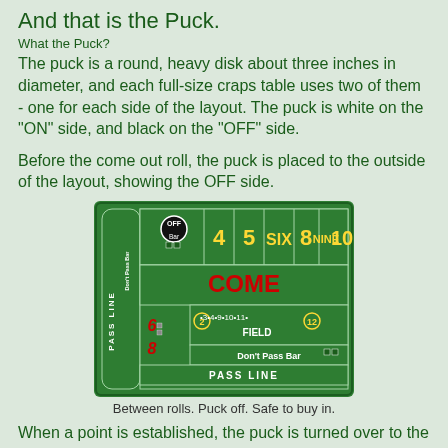And that is the Puck.
What the Puck?
The puck is a round, heavy disk about three inches in diameter, and each full-size craps table uses two of them - one for each side of the layout. The puck is white on the "ON" side, and black on the "OFF" side.
Before the come out roll, the puck is placed to the outside of the layout, showing the OFF side.
[Figure (illustration): Craps table layout showing the puck in OFF position outside the layout. The table shows Pass Line, Don't Pass Bar, Come area, Field (2, 3, 4, 9, 10, 11, 12), and point numbers 4, 5, SIX, 8, NINE, 10. A black puck labeled OFF is placed in the Don't Pass Bar area.]
Between rolls. Puck off. Safe to buy in.
When a point is established, the puck is turned over to the ON side and placed on the point number. This is really